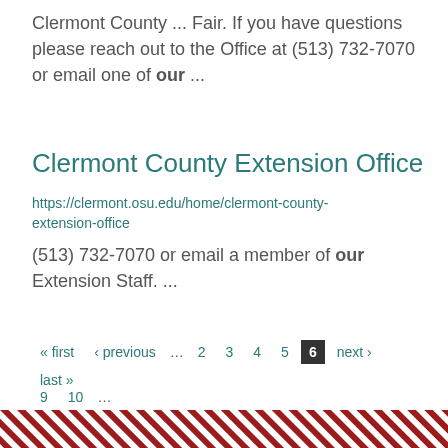Clermont County ... Fair. If you have questions please reach out to the Office at (513) 732-7070 or email one of our ...
Clermont County Extension Office
https://clermont.osu.edu/home/clermont-county-extension-office
(513) 732-7070 or email a member of our Extension Staff. ...
« first ‹ previous … 2 3 4 5 6 next › last » 9 10 …